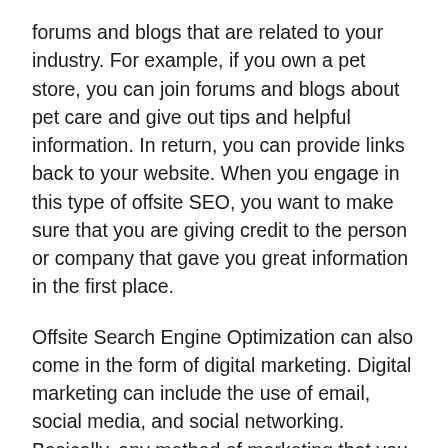forums and blogs that are related to your industry. For example, if you own a pet store, you can join forums and blogs about pet care and give out tips and helpful information. In return, you can provide links back to your website. When you engage in this type of offsite SEO, you want to make sure that you are giving credit to the person or company that gave you great information in the first place.
Offsite Search Engine Optimization can also come in the form of digital marketing. Digital marketing can include the use of email, social media, and social networking. Basically, any method of marketing that you do not have to pay for is considered digital marketing. You want to make sure that you are linking back to your website and giving appropriate credit to the person or company you are marketing to through digital marketing.